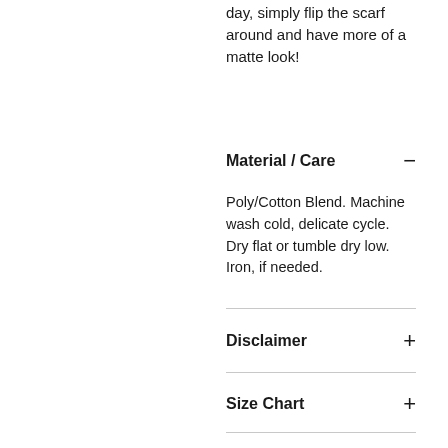day, simply flip the scarf around and have more of a matte look!
Material / Care
Poly/Cotton Blend. Machine wash cold, delicate cycle. Dry flat or tumble dry low. Iron, if needed.
Disclaimer
Size Chart
Shipping & Handling
REFUNDS/EXCHANGES